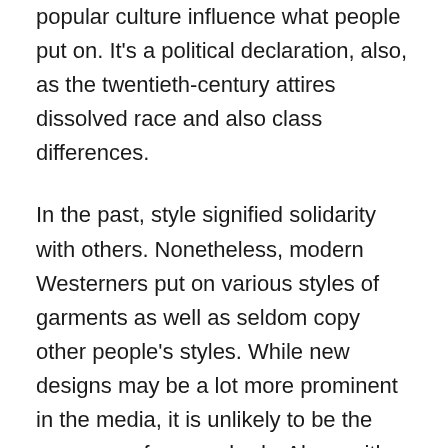popular culture influence what people put on. It's a political declaration, also, as the twentieth-century attires dissolved race and also class differences.
In the past, style signified solidarity with others. Nonetheless, modern Westerners put on various styles of garments as well as seldom copy other people's styles. While new designs may be a lot more prominent in the media, it is unlikely to be the very same for everybody. Along with being a symbol of originality, fashion has actually ended up being a crucial scale of social status as well as rules. In a lot of cases, it has to do with displaying one's individuality.
When talking about fashion, we need to keep in mind that it's a representation of personal style as well as